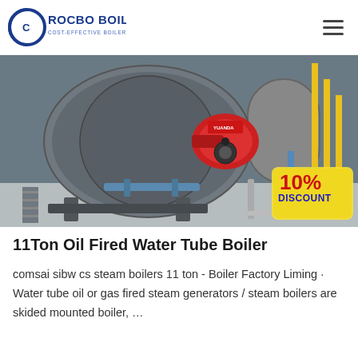ROCBO BOILER — COST-EFFECTIVE BOILER SUPPLIER
[Figure (photo): Industrial water tube boilers in a factory setting with a red burner assembly visible and a '10% DISCOUNT' badge in the bottom right corner. Yellow and blue piping visible in the background.]
11Ton Oil Fired Water Tube Boiler
comsai sibw cs steam boilers 11 ton - Boiler Factory Liming · Water tube oil or gas fired steam generators / steam boilers are skided mounted boiler, …